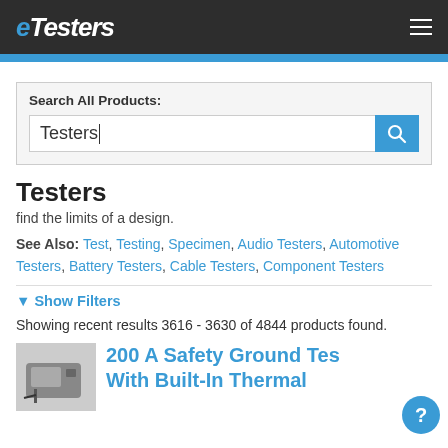eTesters
Search All Products:
Testers
Testers
find the limits of a design.
See Also: Test, Testing, Specimen, Audio Testers, Automotive Testers, Battery Testers, Cable Testers, Component Testers
▼ Show Filters
Showing recent results 3616 - 3630 of 4844 products found.
200 A Safety Ground Tes... With Built-In Thermal